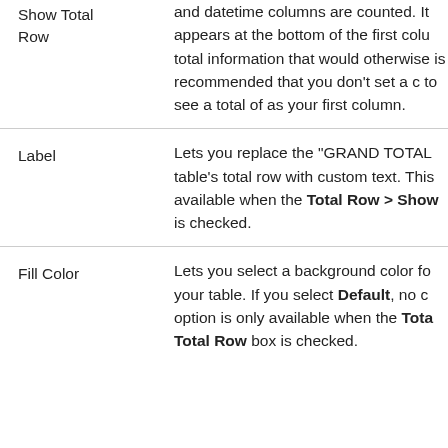| Option | Description |
| --- | --- |
| Show Total Row | and datetime columns are counted. It appears at the bottom of the first column total information that would otherwise is recommended that you don't set a d to see a total of as your first column. |
| Label | Lets you replace the "GRAND TOTAL table's total row with custom text. This available when the Total Row > Show is checked. |
| Fill Color | Lets you select a background color for your table. If you select Default, no color option is only available when the Total Total Row box is checked. |